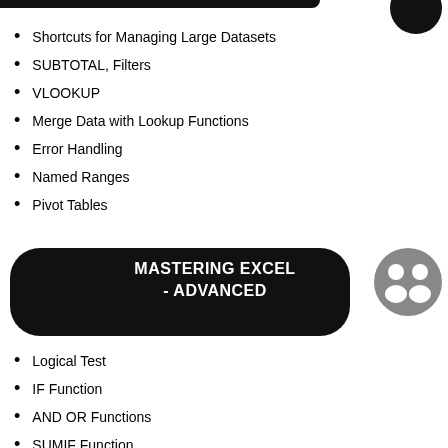Shortcuts for Managing Large Datasets
SUBTOTAL, Filters
VLOOKUP
Merge Data with Lookup Functions
Error Handling
Named Ranges
Pivot Tables
MASTERING EXCEL - ADVANCED
Logical Test
IF Function
AND OR Functions
SUMIF Function
INDEX, MATCH
Merge Data with INDEX, MATCH Functions
Text Manipulation